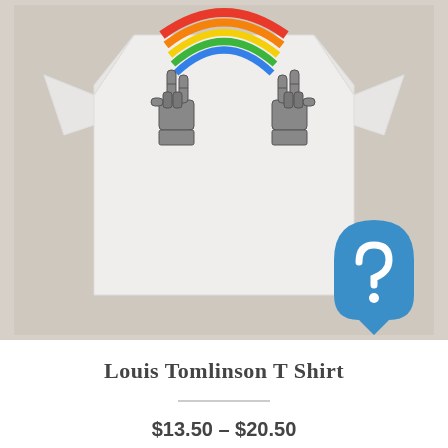[Figure (photo): Product photo of a white t-shirt with a graphic print of two skeleton hands making rock horns gestures beneath a rainbow. A blue app/brand icon logo appears in the lower right of the image. The shirt is photographed against a grey/beige background.]
Louis Tomlinson T Shirt
$13.50 – $20.50